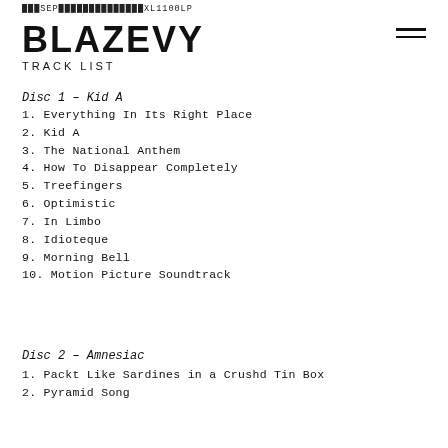███SEP██████████████XL1100LP
BLAZEVY
TRACK LIST
Disc 1 – Kid A
1. Everything In Its Right Place
2. Kid A
3. The National Anthem
4. How To Disappear Completely
5. Treefingers
6. Optimistic
7. In Limbo
8. Idioteque
9. Morning Bell
10. Motion Picture Soundtrack
Disc 2 – Amnesiac
1. Packt Like Sardines in a Crushd Tin Box
2. Pyramid Song